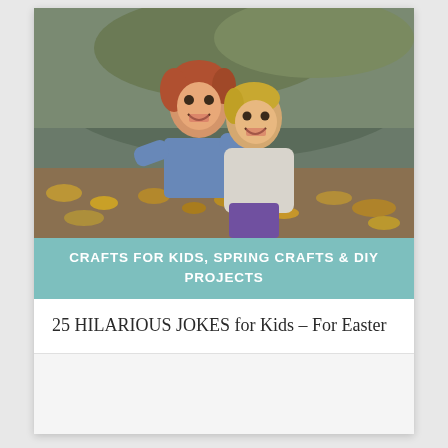[Figure (photo): Two young girls hugging and laughing outdoors among autumn leaves and rocks]
CRAFTS FOR KIDS, SPRING CRAFTS & DIY PROJECTS
25 HILARIOUS JOKES for Kids – For Easter